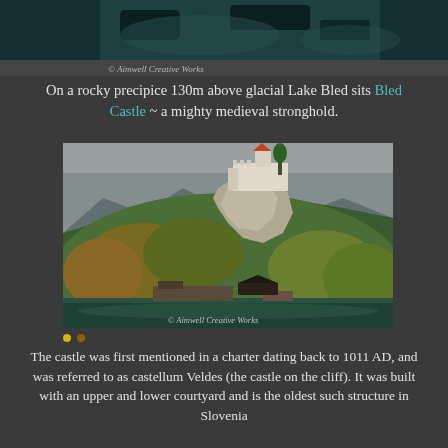[Figure (photo): Partial view of water (Lake Bled) with teal/turquoise tones, partially cropped at top. Watermark reads '© Aimwell Creative Works']
On a rocky precipice 130m above glacial Lake Bled sits Bled Castle ~ a mighty medieval stronghold.
[Figure (photo): Bled Castle perched on a rocky cliff above Lake Bled, surrounded by autumn-colored trees. Lake and small buildings visible at the bottom. Overcast sky. Watermark reads '© Aimwell Creative Works']
The castle was first mentioned in a charter dating back to 1011 AD, and was referred to as castellum Veldes (the castle on the cliff). It was built with an upper and lower courtyard and is the oldest such structure in Slovenia